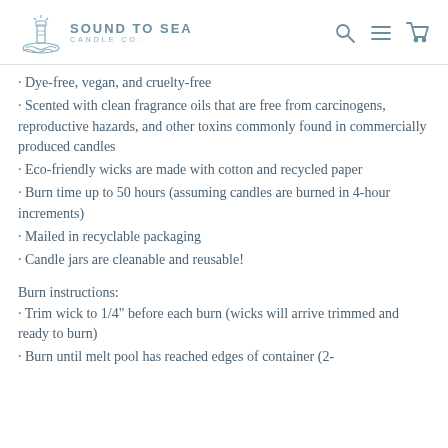Sound to Sea Candle Co.
· Dye-free, vegan, and cruelty-free
· Scented with clean fragrance oils that are free from carcinogens, reproductive hazards, and other toxins commonly found in commercially produced candles
· Eco-friendly wicks are made with cotton and recycled paper
· Burn time up to 50 hours (assuming candles are burned in 4-hour increments)
· Mailed in recyclable packaging
· Candle jars are cleanable and reusable!
Burn instructions:
· Trim wick to 1/4" before each burn (wicks will arrive trimmed and ready to burn)
· Burn until melt pool has reached edges of container (2-